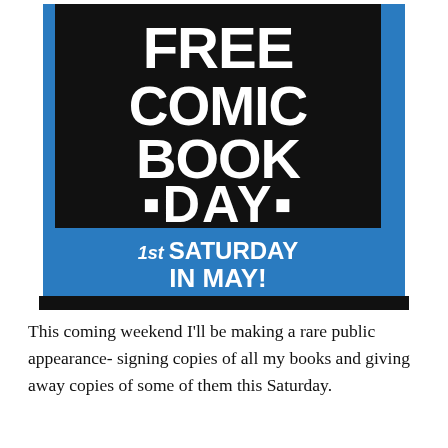[Figure (logo): Free Comic Book Day logo with black background square containing white text FREE COMIC BOOK DAY with blue border and bullet squares, blue band below with white text 1st SATURDAY IN MAY!, black band at bottom with white text May 5, 2018 and URL www.freecomicbookday.com]
This coming weekend I'll be making a rare public appearance- signing copies of all my books and giving away copies of some of them this Saturday.